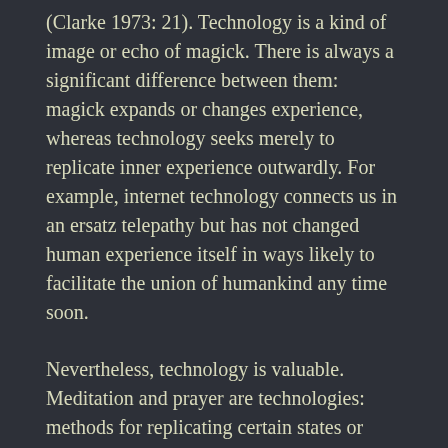(Clarke 1973: 21). Technology is a kind of image or echo of magick. There is always a significant difference between them: magick expands or changes experience, whereas technology seeks merely to replicate inner experience outwardly. For example, internet technology connects us in an ersatz telepathy but has not changed human experience itself in ways likely to facilitate the union of humankind any time soon.
Nevertheless, technology is valuable. Meditation and prayer are technologies: methods for replicating certain states or insights. But whether they produce genuine growth and change depends on our reason for